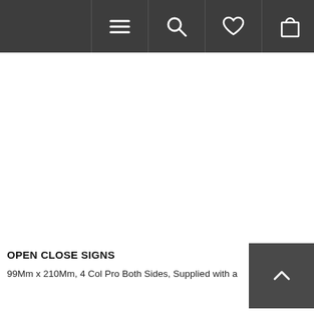[Figure (screenshot): Navigation bar with dark grey background containing menu (hamburger), search, heart/wishlist, shopping bag, and more (ellipsis) icons in individual cells]
OPEN CLOSE SIGNS
99Mm x 210Mm, 4 Col Pro Both Sides, Supplied with a